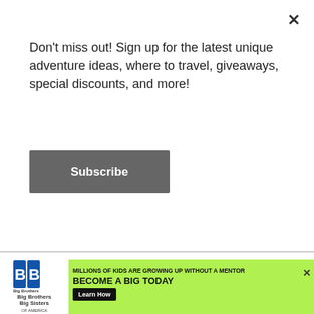Don't miss out! Sign up for the latest unique adventure ideas, where to travel, giveaways, special discounts, and more!
Subscribe
[Figure (photo): Two children wearing white helmets standing in an indoor trampoline/activity park with colorful blue and red mats on the floor]
WHAT'S NEXT → Networks I'm
[Figure (photo): Big Brothers Big Sisters advertisement banner: MILLIONS OF KIDS ARE GROWING UP WITHOUT A MENTOR. BECOME A BIG TODAY. Learn How]